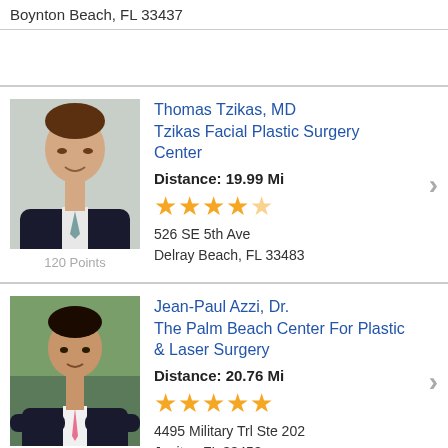Boynton Beach, FL 33437
[Figure (photo): Empty row placeholder]
[Figure (photo): Portrait photo of Thomas Tzikas, MD in dark suit]
Thomas Tzikas, MD Tzikas Facial Plastic Surgery Center
Distance: 19.99 Mi
4.5 stars
526 SE 5th Ave
Delray Beach, FL 33483
120 Points
[Figure (photo): Portrait photo of Jean-Paul Azzi, Dr. in dark suit with pink tie, arms crossed]
Jean-Paul Azzi, Dr. The Palm Beach Center For Plastic & Laser Surgery
Distance: 20.76 Mi
5 stars
4495 Military Trl Ste 202
Jupiter, FL 33458
420 Points
Harold Deftion, Medi...